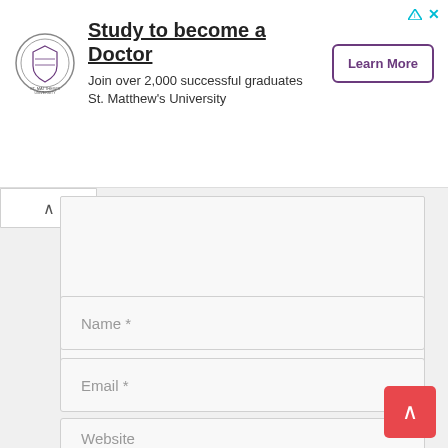[Figure (infographic): Advertisement banner for St. Matthew's University. Shows university seal/logo, headline 'Study to become a Doctor', subtext 'Join over 2,000 successful graduates / St. Matthew's University', and a 'Learn More' button.]
Name *
Email *
Website